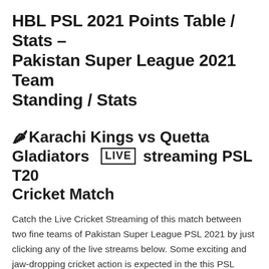HBL PSL 2021 Points Table / Stats – Pakistan Super League 2021 Team Standing / Stats
🌶Karachi Kings vs Quetta Gladiators LIVE streaming PSL T20 Cricket Match
Catch the Live Cricket Streaming of this match between two fine teams of Pakistan Super League PSL 2021 by just clicking any of the live streams below. Some exciting and jaw-dropping cricket action is expected in the this PSL 2021 T20 Match. Watch the Live T20 match only on